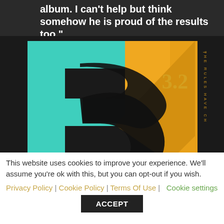album. I can't help but think somehow he is proud of the results too."
[Figure (illustration): Album cover art for 't3 3.2 - The Rules Have Changed'. Features a stylized number 3 in teal/cyan and gold/yellow on a dark background, with '3.2' in gold text and vertical text reading 'THE RULES HAVE CH' on the right side.]
This website uses cookies to improve your experience. We'll assume you're ok with this, but you can opt-out if you wish.
Privacy Policy | Cookie Policy | Terms Of Use | Cookie settings
ACCEPT